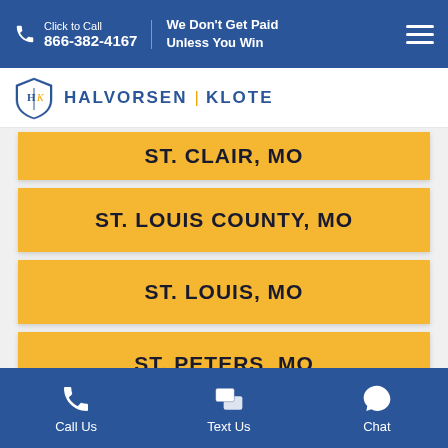Click to Call 866-382-4167 | We Don't Get Paid Unless You Win
[Figure (logo): Halvorsen Klote law firm logo with shield emblem]
ST. CLAIR, MO
ST. LOUIS COUNTY, MO
ST. LOUIS, MO
ST. PETERS, MO
SULLIVAN, MO
Call Us | Text Us | Chat